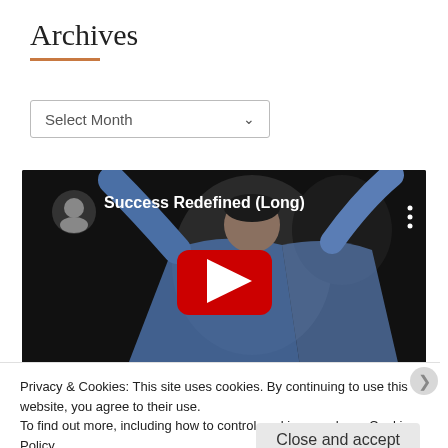Archives
[Figure (screenshot): Dropdown selector labeled 'Select Month' with a chevron arrow]
[Figure (screenshot): YouTube video thumbnail for 'Success Redefined (Long)' showing a man in blue shirt with arms raised, with a red YouTube play button in the center and a channel avatar in the top left corner]
Privacy & Cookies: This site uses cookies. By continuing to use this website, you agree to their use.
To find out more, including how to control cookies, see here: Cookie Policy
Close and accept